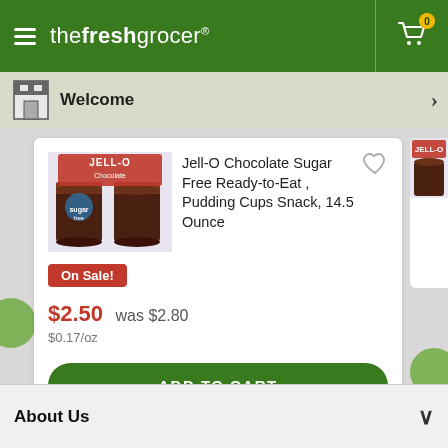the fresh grocer
Welcome
Jell-O Chocolate Sugar Free Ready-to-Eat , Pudding Cups Snack, 14.5 Ounce
On Sale!
$2.50  was $2.80
$0.17/oz
ADD TO CART
About Us